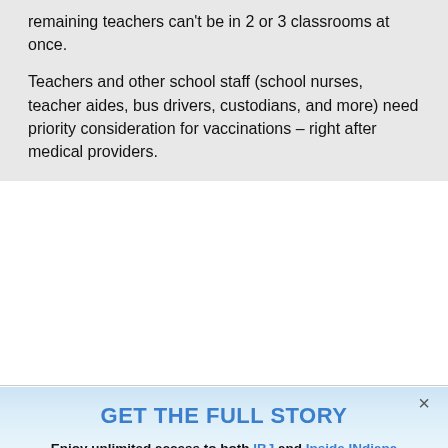remaining teachers can't be in 2 or 3 classrooms at once.
Teachers and other school staff (school nurses, teacher aides, bus drivers, custodians, and more) need priority consideration for vaccinations – right after medical providers.
Log in to Reply
GET THE FULL STORY
Enjoy unlimited access to both IBJ and Inside INdiana Business with The Business News Subscription
Subscribe Now
Already a paid subscriber?
Log In